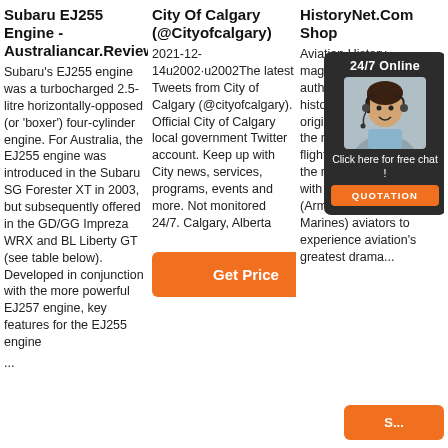Subaru EJ255 Engine - Australiancar.Reviews
Subaru's EJ255 engine was a turbocharged 2.5-litre horizontally-opposed (or 'boxer') four-cylinder engine. For Australia, the EJ255 engine was introduced in the Subaru SG Forester XT in 2003, but subsequently offered in the GD/GG Impreza WRX and BL Liberty GT (see table below). Developed in conjunction with the more powerful EJ257 engine, key features for the EJ255 engine ...
City Of Calgary (@Cityofcalgary)
2021-12-14u2002·u2002The latest Tweets from City of Calgary (@cityofcalgary). Official City of Calgary local government Twitter account. Keep up with City news, services, programs, events and more. Not monitored 24/7. Calgary, Alberta
[Figure (other): Orange 'Get Price' button]
HistoryNet.Com Shop
Aviation History magazine is an authoritative, in-depth history of world aviation from its origins through the Space Age. Aviation History offers air enthusiasts the most detailed coverage of the history of manned flight, with action-packed stories filled with illustrations that put the reader in the cockpit with pilots and military (Army, Navy, and Marines) aviators to experience aviation's greatest drama...
[Figure (other): 24/7 Online chat widget with agent photo and orange QUOTATION button]